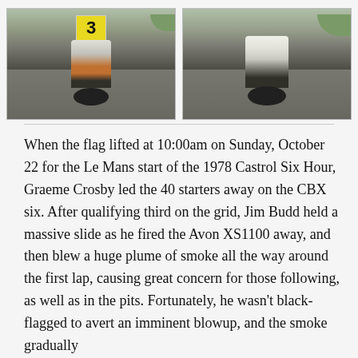[Figure (photo): Two rear-view photos of racing motorcycles on a track. Left photo shows a motorcycle with orange forks and a yellow number plate with '3', viewed from behind on a grey asphalt track with green grass visible. Right photo shows a white motorcycle viewed from behind on the same track.]
When the flag lifted at 10:00am on Sunday, October 22 for the Le Mans start of the 1978 Castrol Six Hour, Graeme Crosby led the 40 starters away on the CBX six. After qualifying third on the grid, Jim Budd held a massive slide as he fired the Avon XS1100 away, and then blew a huge plume of smoke all the way around the first lap, causing great concern for those following, as well as in the pits. Fortunately, he wasn't black-flagged to avert an imminent blowup, and the smoke gradually